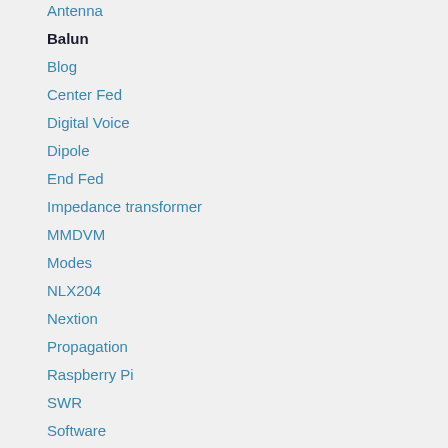Antenna
Balun
Blog
Center Fed
Digital Voice
Dipole
End Fed
Impedance transformer
MMDVM
Modes
NLX204
Nextion
Propagation
Raspberry Pi
SWR
Software
UnUn
WSPR